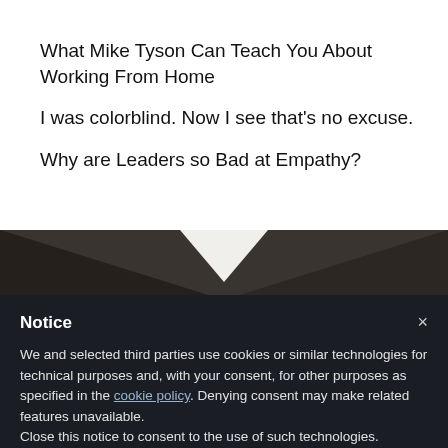What Mike Tyson Can Teach You About Working From Home
I was colorblind. Now I see that's no excuse.
Why are Leaders so Bad at Empathy?
[Figure (photo): Dark angled surface (wood or desk) forming a chevron/V shape against a white background, viewed from above]
Notice
We and selected third parties use cookies or similar technologies for technical purposes and, with your consent, for other purposes as specified in the cookie policy. Denying consent may make related features unavailable.
Close this notice to consent to the use of such technologies.